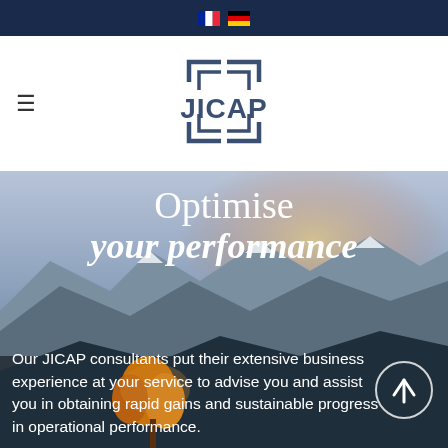Navigation bar with French and German flag icons
[Figure (logo): JICAP company logo with stylized bracket/angle marks around the word JICAP in dark navy]
Optimise your performance
Our JICAP consultants put their extensive business experience at your service to advise you and assist you in obtaining rapid gains and sustainable progress in operational performance.